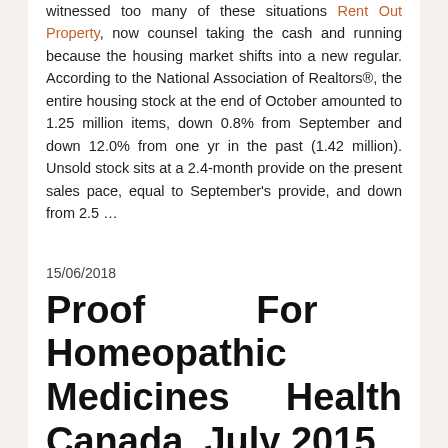witnessed too many of these situations Rent Out Property, now counsel taking the cash and running because the housing market shifts into a new regular. According to the National Association of Realtors®, the entire housing stock at the end of October amounted to 1.25 million items, down 0.8% from September and down 12.0% from one yr in the past (1.42 million). Unsold stock sits at a 2.4-month provide on the present sales pace, equal to September's provide, and down from 2.5 …
15/06/2018
Proof For Homeopathic Medicines Health Canada, July 2015
The regulation of similars states that a illness is cured by a medication that creates signs much like these the patient is experiencing. The homeopathic treatment for